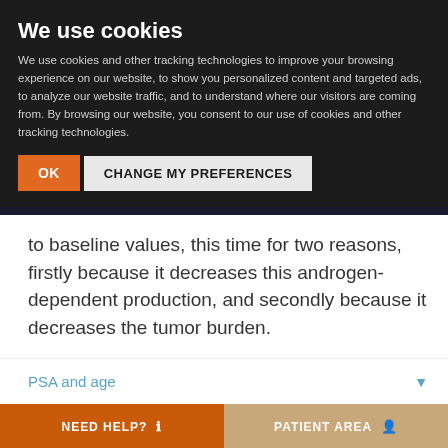We use cookies
We use cookies and other tracking technologies to improve your browsing experience on our website, to show you personalized content and targeted ads, to analyze our website traffic, and to understand where our visitors are coming from. By browsing our website, you consent to our use of cookies and other tracking technologies.
OK | CHANGE MY PREFERENCES
to baseline values, this time for two reasons, firstly because it decreases this androgen-dependent production, and secondly because it decreases the tumor burden.
PSA and age
NEED HELP? ℹ | PATIENT AREA 👤